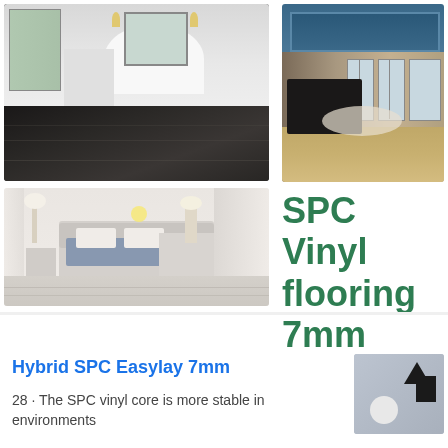[Figure (photo): Top-left: Bathroom with dark gray wood-look SPC vinyl flooring, white bathtub and pedestal sink]
[Figure (photo): Top-right: Elegant living room with light tan/beige SPC vinyl flooring, blue tray ceiling, dark wood furniture]
[Figure (photo): Bottom-left: Modern bedroom with light gray/white SPC vinyl flooring, white bed and furniture]
SPC Vinyl flooring 7mm
Hybrid SPC Easylay 7mm
28 · The SPC vinyl core is more stable in environments
[Figure (photo): Small thumbnail image showing abstract shapes on gray background]